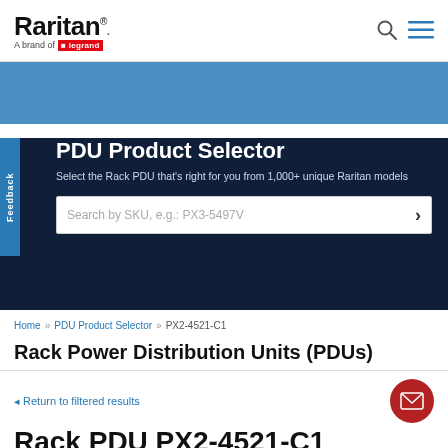Raritan — A brand of legrand
[Figure (illustration): Blue banner decorative area]
PDU Product Selector
Select the Rack PDU that's right for you from 1,000+ unique Raritan models
Search by SKU, e.g.: PX3-5497V
Home » PDU Product Selector » PX2-4521-C1
Rack Power Distribution Units (PDUs)
◄ Return to filtered results
Rack PDU PX2-4521-C1